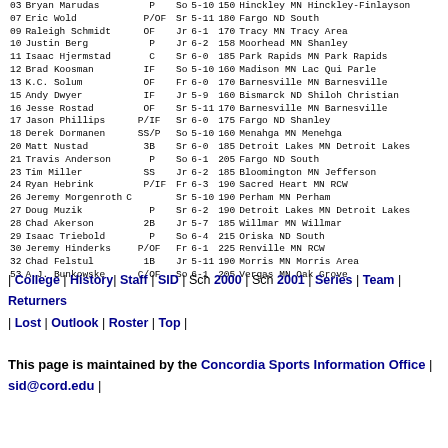| # | Name | Pos | Yr | Ht | Wt | City | St | School |
| --- | --- | --- | --- | --- | --- | --- | --- | --- |
| 03 | Bryan Marudas | P | So | 5-10 | 150 | Hinckley | MN | Hinckley-Finlayson |
| 07 | Eric Wold | P/OF | Sr | 5-11 | 180 | Fargo | ND | South |
| 09 | Raleigh Schmidt | OF | Jr | 6-1 | 170 | Tracy | MN | Tracy Area |
| 10 | Justin Berg | P | Jr | 6-2 | 158 | Moorhead | MN | Shanley |
| 11 | Isaac Hjermstad | C | Sr | 6-0 | 185 | Park Rapids | MN | Park Rapids |
| 12 | Brad Koosman | IF | So | 5-10 | 160 | Madison | MN | Lac Qui Parle |
| 13 | K.C. Solum | OF | Fr | 6-0 | 170 | Barnesville | MN | Barnesville |
| 15 | Andy Dwyer | IF | Jr | 5-9 | 160 | Bismarck | ND | Shiloh Christian |
| 16 | Jesse Rostad | OF | Sr | 5-11 | 170 | Barnesville | MN | Barnesville |
| 17 | Jason Phillips | P/IF | Sr | 6-0 | 175 | Fargo | ND | Shanley |
| 18 | Derek Dormanen | SS/P | So | 5-10 | 160 | Menahga | MN | Menehga |
| 20 | Matt Nustad | 3B | Sr | 6-0 | 185 | Detroit Lakes | MN | Detroit Lakes |
| 21 | Travis Anderson | P | So | 6-1 | 205 | Fargo | ND | South |
| 23 | Tim Miller | SS | Jr | 6-2 | 185 | Bloomington | MN | Jefferson |
| 24 | Ryan Hebrink | P/IF | Fr | 6-3 | 190 | Sacred Heart | MN | RCW |
| 26 | Jeremy Morgenroth | C | Sr | 5-10 | 190 | Perham | MN | Perham |
| 27 | Doug Muzik | P | Sr | 6-2 | 190 | Detroit Lakes | MN | Detroit Lakes |
| 28 | Chad Akerson | 2B | Jr | 5-7 | 185 | Willmar | MN | Willmar |
| 29 | Isaac Triebold | P | So | 6-4 | 215 | Oriska | ND | South |
| 30 | Jeremy Hinderks | P/OF | Fr | 6-1 | 225 | Renville | MN | RCW |
| 32 | Chad Felstul | 1B | Jr | 5-11 | 190 | Morris | MN | Morris Area |
| 53 | A.J. Bunkowske | C/OF | So | 6-1 | 205 | Vergas | MN | Oak Grove |
| College | History | Staff | SID | Sch 2000 | Sch 2001 | Series | Team | Returners | Lost | Outlook | Roster | Top |
This page is maintained by the Concordia Sports Information Office | sid@cord.edu |